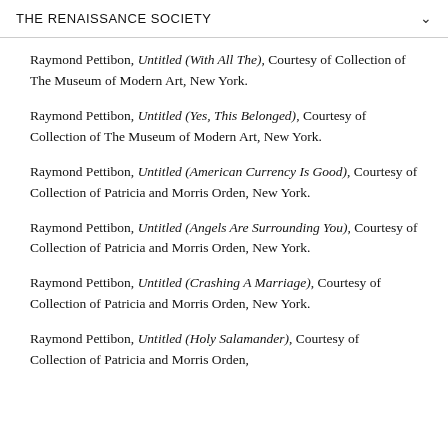THE RENAISSANCE SOCIETY
Raymond Pettibon, Untitled (With All The), Courtesy of Collection of The Museum of Modern Art, New York.
Raymond Pettibon, Untitled (Yes, This Belonged), Courtesy of Collection of The Museum of Modern Art, New York.
Raymond Pettibon, Untitled (American Currency Is Good), Courtesy of Collection of Patricia and Morris Orden, New York.
Raymond Pettibon, Untitled (Angels Are Surrounding You), Courtesy of Collection of Patricia and Morris Orden, New York.
Raymond Pettibon, Untitled (Crashing A Marriage), Courtesy of Collection of Patricia and Morris Orden, New York.
Raymond Pettibon, Untitled (Holy Salamander), Courtesy of Collection of Patricia and Morris Orden,